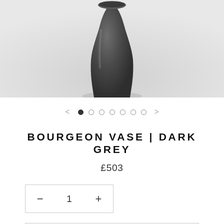[Figure (photo): Dark grey ceramic vase (Bourgeon Vase) photographed from above on a light grey background, showing the top and upper body of the vase.]
< • ○ ○ ○ ○ ○ ○ >
BOURGEON VASE | DARK GREY
£503
— 1 +
ADD TO CART